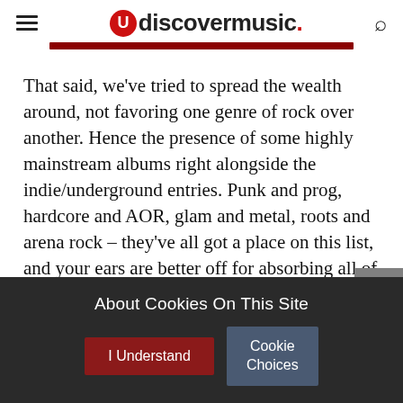udiscovermusic.
That said, we've tried to spread the wealth around, not favoring one genre of rock over another. Hence the presence of some highly mainstream albums right alongside the indie/underground entries. Punk and prog, hardcore and AOR, glam and metal, roots and arena rock – they've all got a place on this list, and your ears are better off for absorbing all of it.
Finally, this list has been confined strictly to one
About Cookies On This Site
I Understand
Cookie Choices